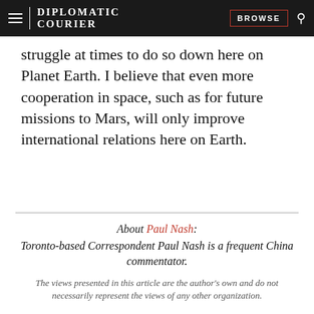DIPLOMATIC COURIER | BROWSE
struggle at times to do so down here on Planet Earth. I believe that even more cooperation in space, such as for future missions to Mars, will only improve international relations here on Earth.
About Paul Nash: Toronto-based Correspondent Paul Nash is a frequent China commentator.
The views presented in this article are the author's own and do not necessarily represent the views of any other organization.